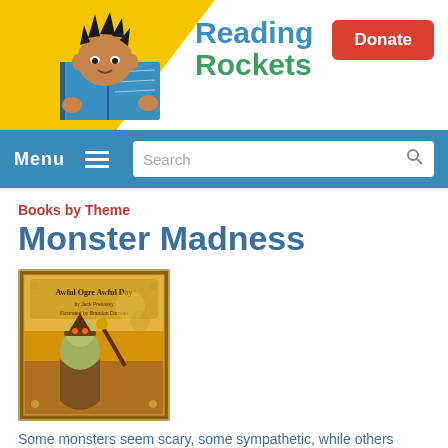[Figure (screenshot): Reading Rockets website header with mascot illustration of a child reading a book, yellow background on left, white on right]
Reading Rockets | Menu | Search | Donate
Books by Theme
Monster Madness
[Figure (illustration): Book cover illustration showing a fantastical scene with text 'Awful Ogre Awful Day' and a character in a colorful environment]
Some monsters seem scary, some sympathetic, while others